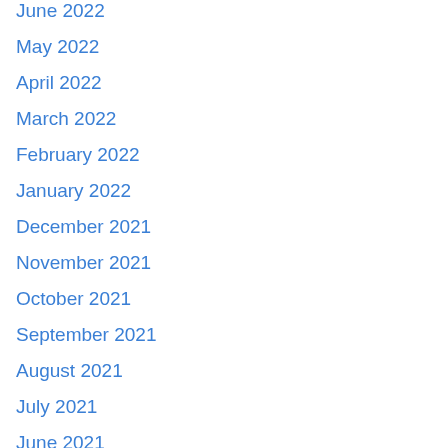June 2022
May 2022
April 2022
March 2022
February 2022
January 2022
December 2021
November 2021
October 2021
September 2021
August 2021
July 2021
June 2021
May 2021
April 2021